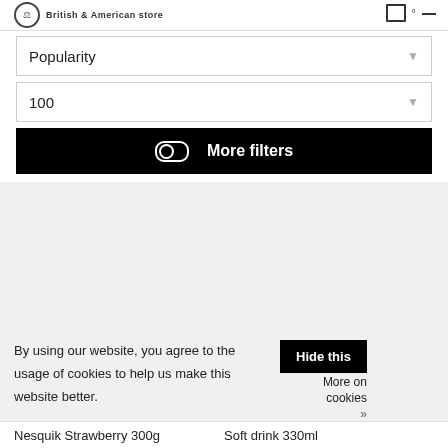British & American store
Popularity
100
More filters
By using our website, you agree to the usage of cookies to help us make this website better.
Hide this
More on cookies »
Nesquik Strawberry 300g
Soft drink 330ml